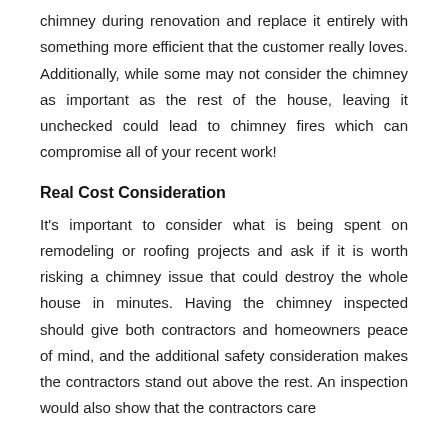chimney during renovation and replace it entirely with something more efficient that the customer really loves. Additionally, while some may not consider the chimney as important as the rest of the house, leaving it unchecked could lead to chimney fires which can compromise all of your recent work!
Real Cost Consideration
It's important to consider what is being spent on remodeling or roofing projects and ask if it is worth risking a chimney issue that could destroy the whole house in minutes. Having the chimney inspected should give both contractors and homeowners peace of mind, and the additional safety consideration makes the contractors stand out above the rest. An inspection would also show that the contractors care